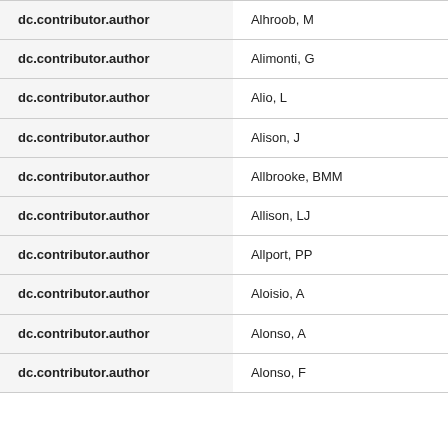| dc.contributor.author | Alhroob, M |
| dc.contributor.author | Alimonti, G |
| dc.contributor.author | Alio, L |
| dc.contributor.author | Alison, J |
| dc.contributor.author | Allbrooke, BMM |
| dc.contributor.author | Allison, LJ |
| dc.contributor.author | Allport, PP |
| dc.contributor.author | Aloisio, A |
| dc.contributor.author | Alonso, A |
| dc.contributor.author | Alonso, F |